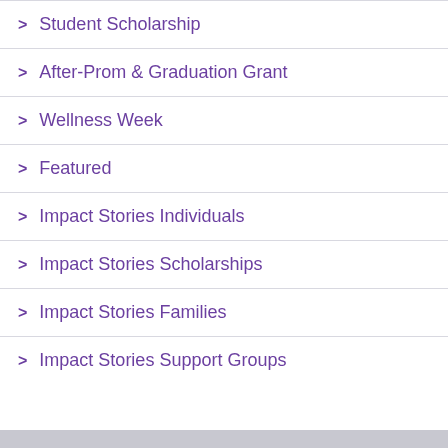> Student Scholarship
> After-Prom & Graduation Grant
> Wellness Week
> Featured
> Impact Stories Individuals
> Impact Stories Scholarships
> Impact Stories Families
> Impact Stories Support Groups